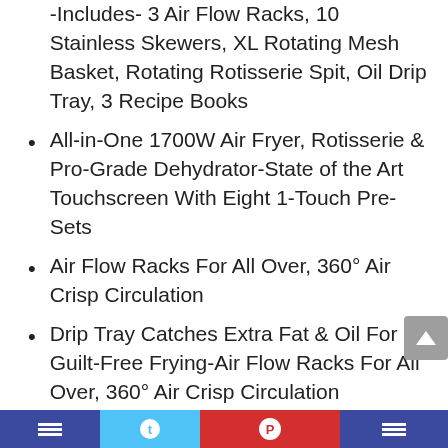Choose from 2 Sizes 6 Qt for the Family Sized 8 Qt -Includes- 3 Air Flow Racks, 10 Stainless Skewers, XL Rotating Mesh Basket, Rotating Rotisserie Spit, Oil Drip Tray, 3 Recipe Books
All-in-One 1700W Air Fryer, Rotisserie & Pro-Grade Dehydrator-State of the Art Touchscreen With Eight 1-Touch Pre-Sets
Air Flow Racks For All Over, 360° Air Crisp Circulation
Drip Tray Catches Extra Fat & Oil For Guilt-Free Frying-Air Flow Racks For All Over, 360° Air Crisp Circulation
Dehydrate Fruit, Veggies & More— with No Added Sugar!
Social media sharing bar